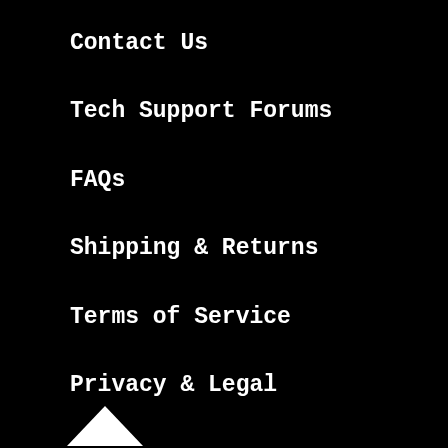Contact Us
Tech Support Forums
FAQs
Shipping & Returns
Terms of Service
Privacy & Legal
Website Accessibility
About Us
Press
Educators
Distributors
Jobs
Gift Cards
[Figure (illustration): Small upward-pointing arrow or logo mark at bottom left]